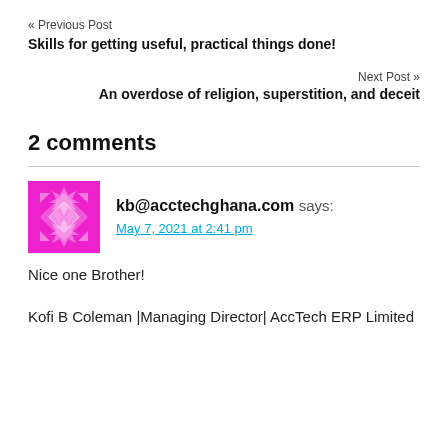« Previous Post
Skills for getting useful, practical things done!
Next Post »
An overdose of religion, superstition, and deceit
2 comments
kb@acctechghana.com says:
May 7, 2021 at 2:41 pm
Nice one Brother!
Kofi B Coleman |Managing Director| AccTech ERP Limited